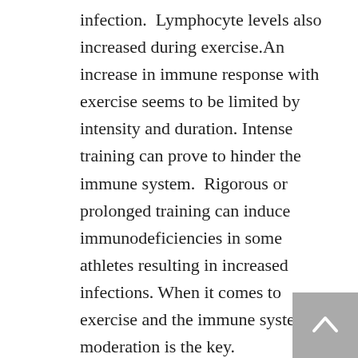infection.  Lymphocyte levels also increased during exercise.An increase in immune response with exercise seems to be limited by intensity and duration. Intense training can prove to hinder the immune system.  Rigorous or prolonged training can induce immunodeficiencies in some athletes resulting in increased infections. When it comes to exercise and the immune system, moderation is the key.
11. Prevention of chronic disease: In adults, resistance training has been shown to decrease the rate, incidence and assist in the treatment of certain chronic